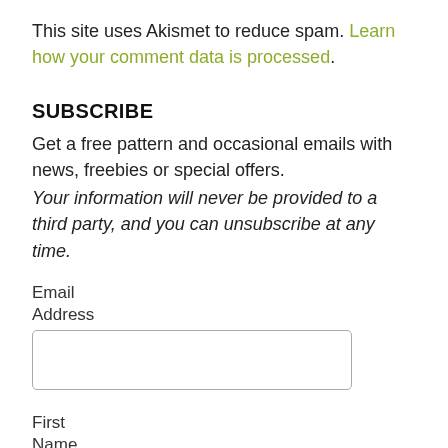This site uses Akismet to reduce spam. Learn how your comment data is processed.
SUBSCRIBE
Get a free pattern and occasional emails with news, freebies or special offers.
Your information will never be provided to a third party, and you can unsubscribe at any time.
Email Address
First Name